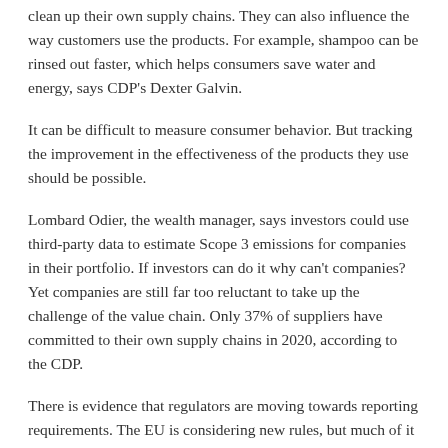clean up their own supply chains. They can also influence the way customers use the products. For example, shampoo can be rinsed out faster, which helps consumers save water and energy, says CDP's Dexter Galvin.
It can be difficult to measure consumer behavior. But tracking the improvement in the effectiveness of the products they use should be possible.
Lombard Odier, the wealth manager, says investors could use third-party data to estimate Scope 3 emissions for companies in their portfolio. If investors can do it why can't companies? Yet companies are still far too reluctant to take up the challenge of the value chain. Only 37% of suppliers have committed to their own supply chains in 2020, according to the CDP.
There is evidence that regulators are moving towards reporting requirements. The EU is considering new rules, but much of it can still be voluntary. The US Securities and Exchange Commission